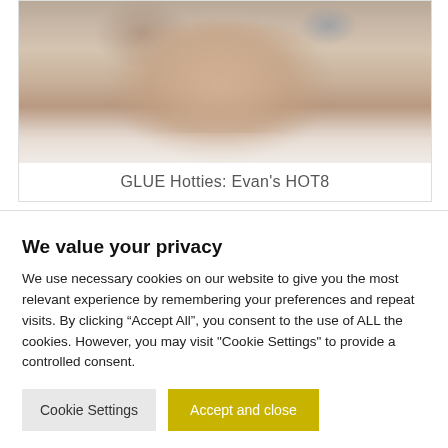[Figure (photo): Shirtless person photo used in article thumbnail]
GLUE Hotties: Evan's HOT8
We value your privacy
We use necessary cookies on our website to give you the most relevant experience by remembering your preferences and repeat visits. By clicking “Accept All”, you consent to the use of ALL the cookies. However, you may visit "Cookie Settings" to provide a controlled consent.
Cookie Settings
Accept and close